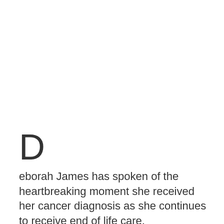D
eborah James has spoken of the heartbreaking moment she received her cancer diagnosis as she continues to receive end of life care.
It comes after the 40-year-old podcaster revealed she has defied all expectations by